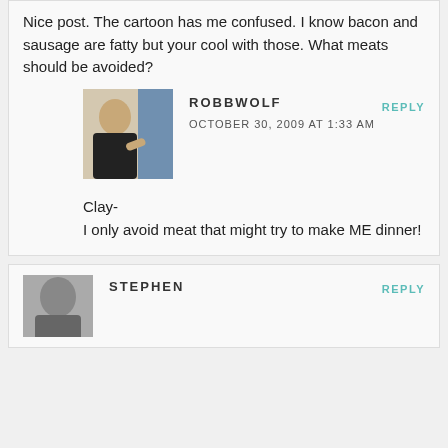Nice post. The cartoon has me confused. I know bacon and sausage are fatty but your cool with those. What meats should be avoided?
ROBBWOLF
OCTOBER 30, 2009 AT 1:33 AM
REPLY
Clay-
I only avoid meat that might try to make ME dinner!
[Figure (photo): Profile photo of Robb Wolf, a man in a black t-shirt]
STEPHEN
REPLY
[Figure (photo): Profile photo of Stephen, grayscale image]